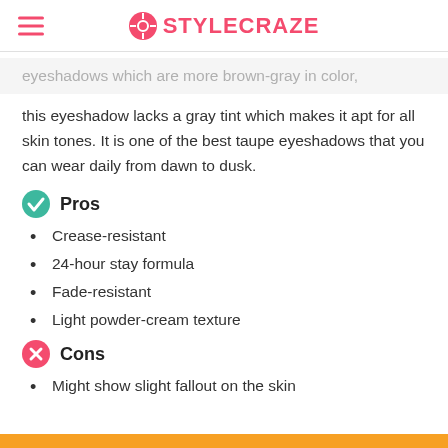STYLECRAZE
eyeshadows which are more brown-gray in color, this eyeshadow lacks a gray tint which makes it apt for all skin tones. It is one of the best taupe eyeshadows that you can wear daily from dawn to dusk.
Pros
Crease-resistant
24-hour stay formula
Fade-resistant
Light powder-cream texture
Cons
Might show slight fallout on the skin